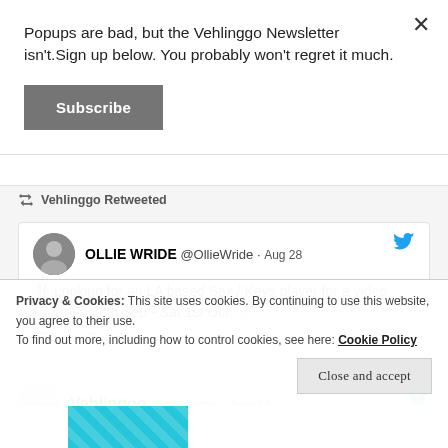Popups are bad, but the Vehlinggo Newsletter isn't. Sign up below. You probably won't regret it much.
Subscribe
Vehlinggo Retweeted
OLLIE WRIDE @OllieWride · Aug 28
‼ Looking for an LA based Sax / Keys player for a video shoot Fri 30th Sep - Sat 1st Oct. 🕺
2  12
Vehlinggo @vehlinggo · Aug 28
Today marks the 2nd anniv. of the inimitable
Privacy & Cookies: This site uses cookies. By continuing to use this website, you agree to their use.
To find out more, including how to control cookies, see here: Cookie Policy
Close and accept